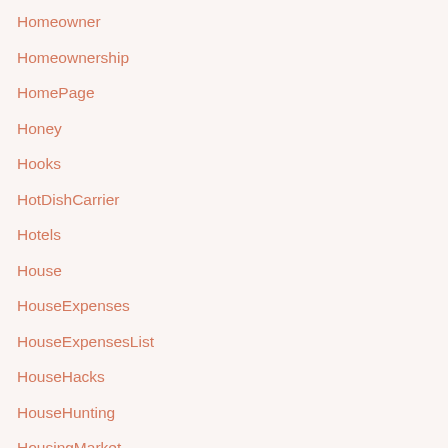Homeowner
Homeownership
HomePage
Honey
Hooks
HotDishCarrier
Hotels
House
HouseExpenses
HouseExpensesList
HouseHacks
HouseHunting
HousingMarket
HowToAndTips
Howtomake